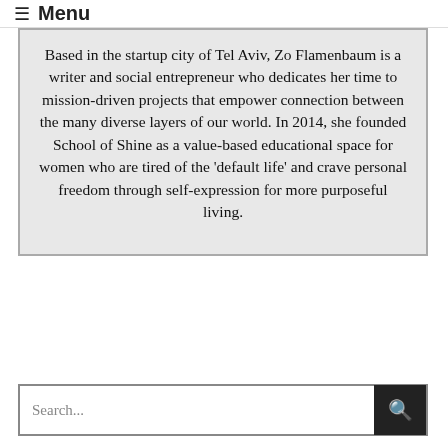≡ Menu
Based in the startup city of Tel Aviv, Zo Flamenbaum is a writer and social entrepreneur who dedicates her time to mission-driven projects that empower connection between the many diverse layers of our world. In 2014, she founded School of Shine as a value-based educational space for women who are tired of the 'default life' and crave personal freedom through self-expression for more purposeful living.